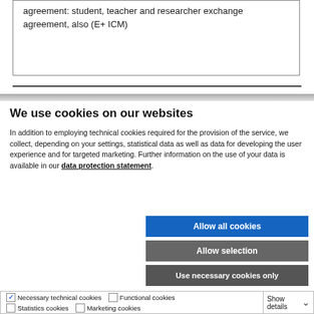agreement: student, teacher and researcher exchange agreement, also (E+ ICM)
We use cookies on our websites
In addition to employing technical cookies required for the provision of the service, we collect, depending on your settings, statistical data as well as data for developing the user experience and for targeted marketing. Further information on the use of your data is available in our data protection statement.
Allow all cookies
Allow selection
Use necessary cookies only
Necessary technical cookies  Functional cookies  Statistics cookies  Marketing cookies  Show details